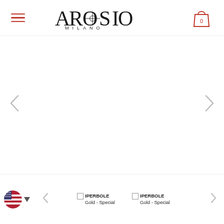[Figure (logo): Arosio Milano brand logo with hamburger menu and shopping cart icon in header]
[Figure (illustration): Main product image area (white/blank carousel view) with left and right navigation arrows]
[Figure (illustration): Bottom navigation bar with US flag currency selector, left/right arrows, and two product thumbnails labeled IPERBOLE Gold - Special]
IPERBOLE Gold - Special
IPERBOLE Gold - Special